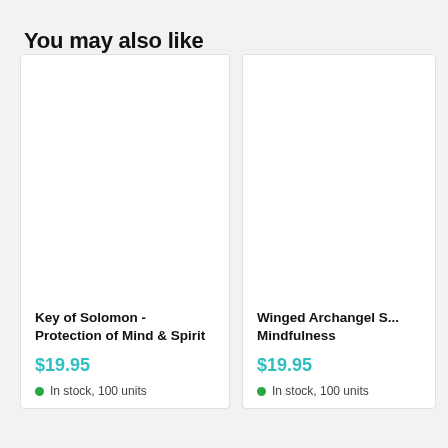You may also like
[Figure (other): Product card image placeholder – white rectangle for Key of Solomon - Protection of Mind & Spirit]
Key of Solomon - Protection of Mind & Spirit
$19.95
In stock, 100 units
[Figure (other): Product card image placeholder – white rectangle for Winged Archangel S... Mindfulness]
Winged Archangel S... Mindfulness
$19.95
In stock, 100 units